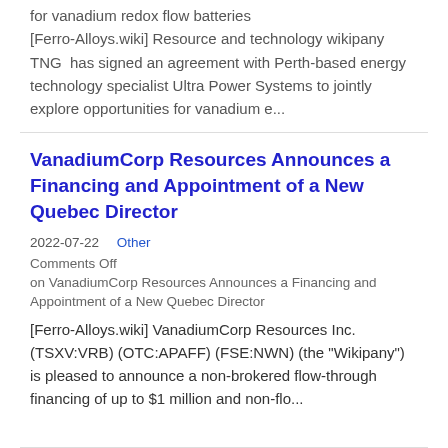for vanadium redox flow batteries [Ferro-Alloys.wiki] Resource and technology wikipany TNG has signed an agreement with Perth-based energy technology specialist Ultra Power Systems to jointly explore opportunities for vanadium e...
VanadiumCorp Resources Announces a Financing and Appointment of a New Quebec Director
2022-07-22    Other
Comments Off on VanadiumCorp Resources Announces a Financing and Appointment of a New Quebec Director
[Ferro-Alloys.wiki] VanadiumCorp Resources Inc. (TSXV:VRB) (OTC:APAFF) (FSE:NWN) (the "Wikipany") is pleased to announce a non-brokered flow-through financing of up to $1 million and non-flo...